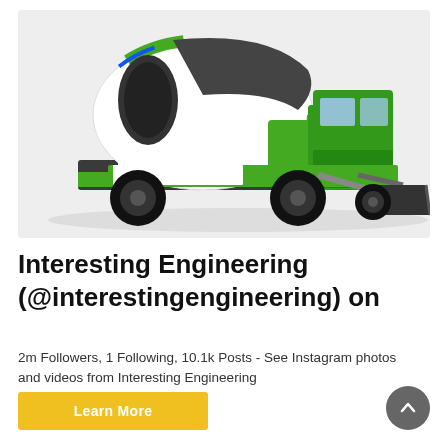[Figure (photo): A green and white self-loading concrete mixer truck with a front-mounted loader bucket, photographed on a light gray background. The machine has a large rotating drum on the rear, a cab on the right side, and large off-road tires.]
Interesting Engineering (@interestingengineering) on
2m Followers, 1 Following, 10.1k Posts - See Instagram photos and videos from Interesting Engineering (@interestingengineering)
Learn More